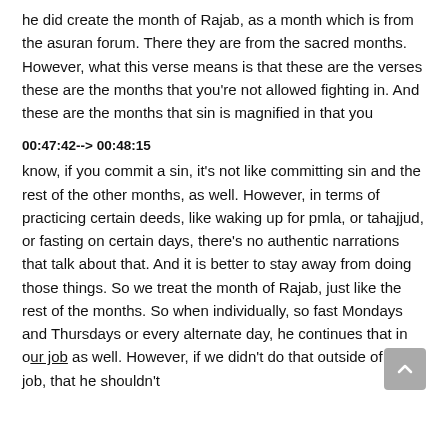he did create the month of Rajab, as a month which is from the asuran forum. There they are from the sacred months. However, what this verse means is that these are the verses these are the months that you're not allowed fighting in. And these are the months that sin is magnified in that you
00:47:42--> 00:48:15
know, if you commit a sin, it's not like committing sin and the rest of the other months, as well. However, in terms of practicing certain deeds, like waking up for pmla, or tahajjud, or fasting on certain days, there's no authentic narrations that talk about that. And it is better to stay away from doing those things. So we treat the month of Rajab, just like the rest of the months. So when individually, so fast Mondays and Thursdays or every alternate day, he continues that in our job as well. However, if we didn't do that outside of our job, that he shouldn't